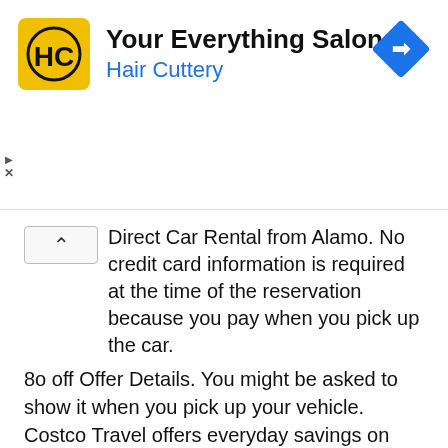[Figure (logo): Hair Cuttery advertisement banner with HC logo (yellow square with HC letters), title 'Your Everything Salon', subtitle 'Hair Cuttery' in blue, and a blue diamond navigation arrow icon on the right]
Direct Car Rental from Alamo. No credit card information is required at the time of the reservation because you pay when you pick up the car.
8o off Offer Details. You might be asked to show it when you pick up your vehicle. Costco Travel offers everyday savings on top-quality brand-name vacations hotels cruises rental cars exclusively for Costco members.
Another bonus of traveling with your Costco card is that youll have it with you in case you end up getting vacation groceries at Costco. Ad Choose From Minis To Luxury Cars To Minivans. Rental car reservations made through Costco Travels Low Price Finder may be